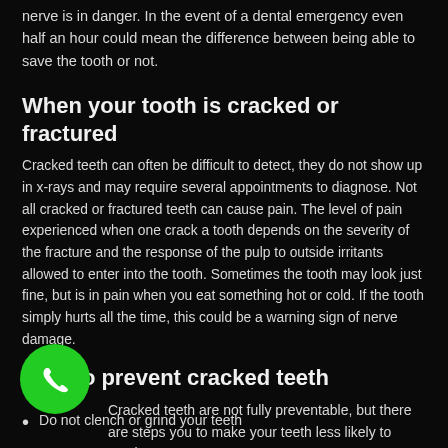nerve is in danger. In the event of a dental emergency even half an hour could mean the difference between being able to save the tooth or not.
When your tooth is cracked or fractured
Cracked teeth can often be difficult to detect, they do not show up in x-rays and may require several appointments to diagnose. Not all cracked or fractured teeth can cause pain. The level of pain experienced when one crack a tooth depends on the severity of the fracture and the response of the pulp to outside irritants allowed to enter into the tooth. Sometimes the tooth may look just fine, but is in pain when you eat something hot or cold. If the tooth simply hurts all the time, this could be a warning sign of nerve damage.
How to prevent cracked teeth
Cracked teeth are not fully preventable, but there are steps you to make your teeth less likely to crack
Do not clench or grind your teeth